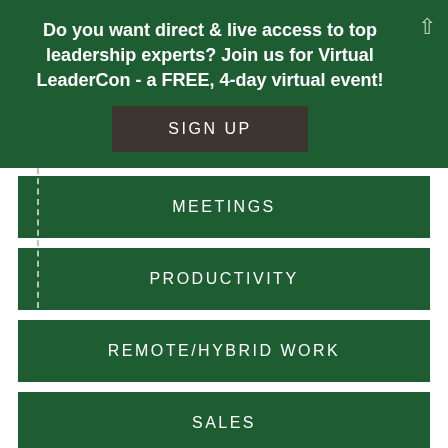Do you want direct & live access to top leadership experts? Join us for Virtual LeaderCon - a FREE, 4-day virtual event!
SIGN UP
MEETINGS
PRODUCTIVITY
REMOTE/HYBRID WORK
SALES
TEAMWORK